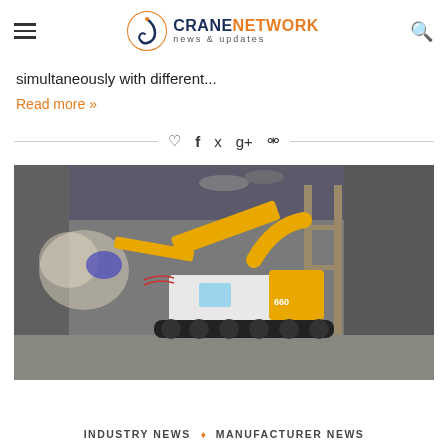Crane Network News & Updates
simultaneously with different...
Read more »
[Figure (photo): Yellow and white tracked excavator with hydraulic arm working inside a concrete tunnel construction site]
INDUSTRY NEWS ◇ MANUFACTURER NEWS